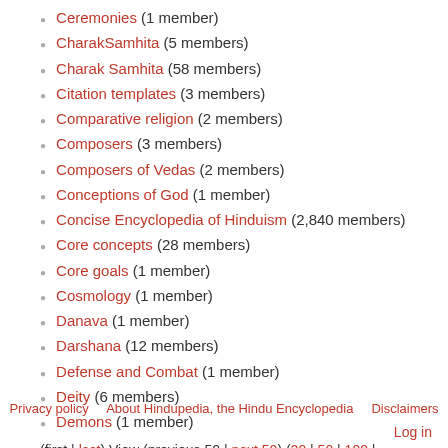Ceremonies (1 member)
CharakSamhita (5 members)
Charak Samhita (58 members)
Citation templates (3 members)
Comparative religion (2 members)
Composers (3 members)
Composers of Vedas (2 members)
Conceptions of God (1 member)
Concise Encyclopedia of Hinduism (2,840 members)
Core concepts (28 members)
Core goals (1 member)
Cosmology (1 member)
Danava (1 member)
Darshana (12 members)
Defense and Combat (1 member)
Deity (6 members)
Demons (1 member)
(first | last) View (previous 50 | next 50) (20 | 50 | 100 | 250 | 500)
Privacy policy    About Hindupedia, the Hindu Encyclopedia    Disclaimers
Log in